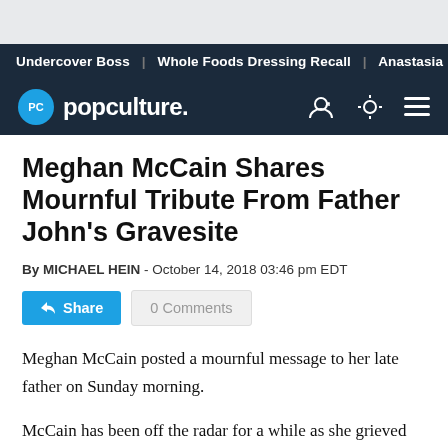Undercover Boss | Whole Foods Dressing Recall | Anastasia
[Figure (logo): Popculture.com logo with navigation icons on dark navy background]
Meghan McCain Shares Mournful Tribute From Father John's Gravesite
By MICHAEL HEIN - October 14, 2018 03:46 pm EDT
Share | 0 Comments
Meghan McCain posted a mournful message to her late father on Sunday morning.
McCain has been off the radar for a while as she grieved for her father, Sen. John McCain. She took some time off from